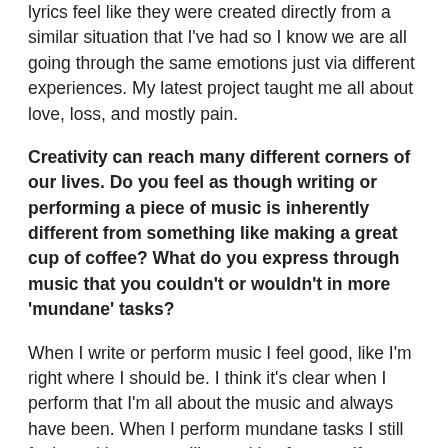lyrics feel like they were created directly from a similar situation that I've had so I know we are all going through the same emotions just via different experiences. My latest project taught me all about love, loss, and mostly pain.
Creativity can reach many different corners of our lives. Do you feel as though writing or performing a piece of music is inherently different from something like making a great cup of coffee? What do you express through music that you couldn't or wouldn't in more 'mundane' tasks?
When I write or perform music I feel good, like I'm right where I should be. I think it's clear when I perform that I'm all about the music and always have been. When I perform mundane tasks I still feel good in a sense like cooking for myself because it's just another form of self love. Nourishing my body and soul but via a different task. However, the intensity of the good feels are amplified when it involves music for me.